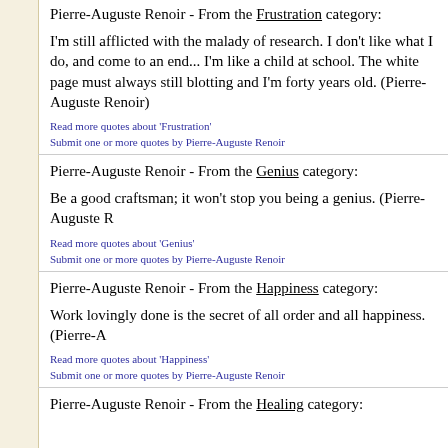Pierre-Auguste Renoir - From the Frustration category:
I'm still afflicted with the malady of research. I don't like what I do, and come to an end... I'm like a child at school. The white page must always still blotting and I'm forty years old. (Pierre-Auguste Renoir)
Read more quotes about 'Frustration'
Submit one or more quotes by Pierre-Auguste Renoir
Pierre-Auguste Renoir - From the Genius category:
Be a good craftsman; it won't stop you being a genius. (Pierre-Auguste R
Read more quotes about 'Genius'
Submit one or more quotes by Pierre-Auguste Renoir
Pierre-Auguste Renoir - From the Happiness category:
Work lovingly done is the secret of all order and all happiness. (Pierre-A
Read more quotes about 'Happiness'
Submit one or more quotes by Pierre-Auguste Renoir
Pierre-Auguste Renoir - From the Healing category: